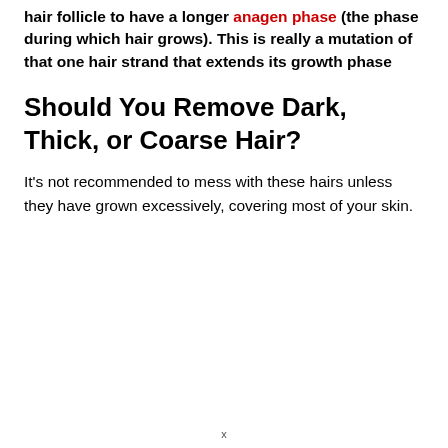hair follicle to have a longer anagen phase (the phase during which hair grows). This is really a mutation of that one hair strand that extends its growth phase
Should You Remove Dark, Thick, or Coarse Hair?
It's not recommended to mess with these hairs unless they have grown excessively, covering most of your skin.
x